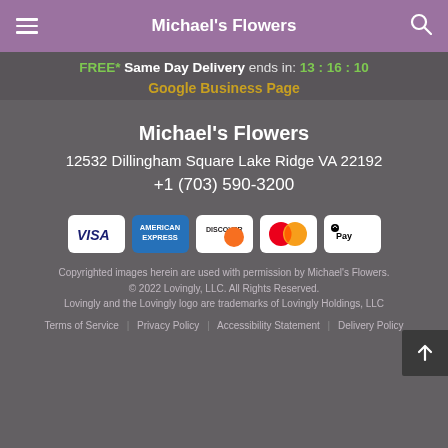Michael's Flowers
FREE* Same Day Delivery ends in: 13 : 16 : 10
Google Business Page
Michael's Flowers
12532 Dillingham Square Lake Ridge VA 22192
+1 (703) 590-3200
[Figure (infographic): Payment method icons: Visa, American Express, Discover, Mastercard, Apple Pay]
Copyrighted images herein are used with permission by Michael's Flowers.
© 2022 Lovingly, LLC. All Rights Reserved.
Lovingly and the Lovingly logo are trademarks of Lovingly Holdings, LLC
Terms of Service | Privacy Policy | Accessibility Statement | Delivery Policy